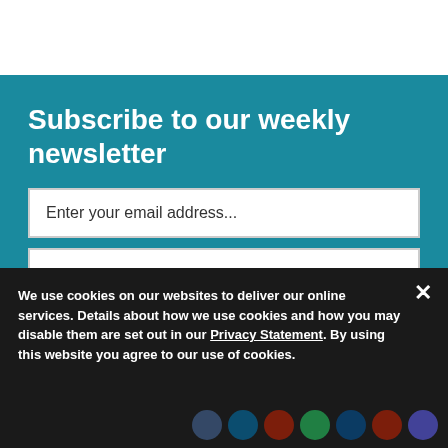Subscribe to our weekly newsletter
Enter your email address...
Select your country or region
SUBSCRIBE
We use cookies on our websites to deliver our online services. Details about how we use cookies and how you may disable them are set out in our Privacy Statement. By using this website you agree to our use of cookies.